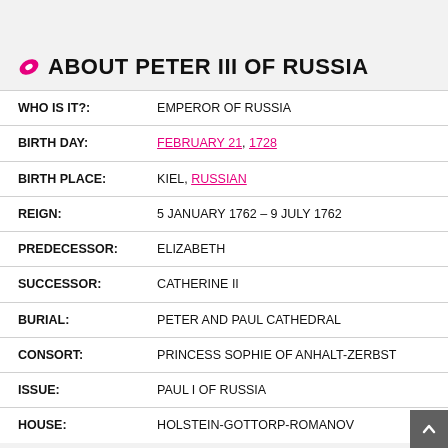ABOUT PETER III OF RUSSIA
| Field | Value |
| --- | --- |
| WHO IS IT?: | EMPEROR OF RUSSIA |
| BIRTH DAY: | FEBRUARY 21, 1728 |
| BIRTH PLACE: | KIEL, RUSSIAN |
| REIGN: | 5 JANUARY 1762 – 9 JULY 1762 |
| PREDECESSOR: | ELIZABETH |
| SUCCESSOR: | CATHERINE II |
| BURIAL: | PETER AND PAUL CATHEDRAL |
| CONSORT: | PRINCESS SOPHIE OF ANHALT-ZERBST |
| ISSUE: | PAUL I OF RUSSIA |
| HOUSE: | HOLSTEIN-GOTTORP-ROMANOV |